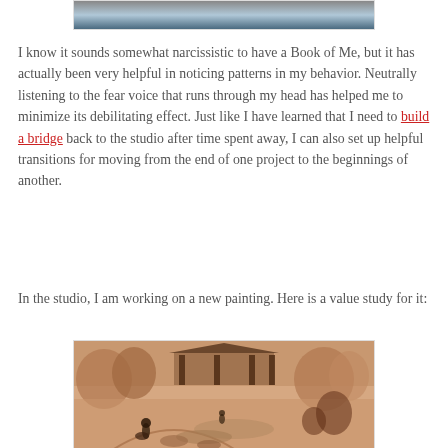[Figure (photo): Top cropped photo showing a landscape or outdoor scene with sky and muted tones]
I know it sounds somewhat narcissistic to have a Book of Me, but it has actually been very helpful in noticing patterns in my behavior. Neutrally listening to the fear voice that runs through my head has helped me to minimize its debilitating effect. Just like I have learned that I need to build a bridge back to the studio after time spent away, I can also set up helpful transitions for moving from the end of one project to the beginnings of another.
In the studio, I am working on a new painting. Here is a value study for it:
[Figure (illustration): Sepia-toned value study sketch of an outdoor scene with a pavilion/gazebo structure, trees, a cyclist in the foreground, and landscape elements]